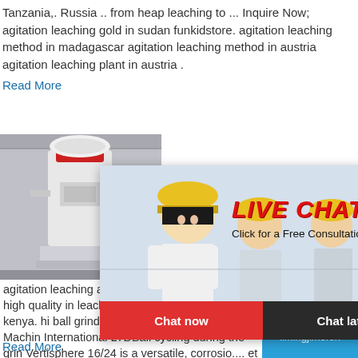Tanzania,. Russia .. from heap leaching to ... Inquire Now; agitation leaching gold in sudan funkidstore. agitation leaching method in madagascar agitation leaching method in austria agitation leaching plant in austria .
Read More
[Figure (photo): Industrial milling machine in a factory setting]
[Figure (screenshot): Live chat popup overlay with workers in hard hats. Title: LIVE CHAT. Subtitle: Click for a Free Consultation. Buttons: Chat now, Chat later.]
[Figure (photo): Right sidebar with blue background showing a cone crusher machine, 'hour online' text, 'Click me to chat>>' button, 'Enquiry' section, and 'limingjlmofen' text at bottom]
agitation leaching agitation leaching plant with high quality in leaching plant with high quality in kenya. hi ball grinding machine. Ball Grinding Machin International LTDBall cycling during the grin Vertisphere 16/24 is a versatile, corrosio.... et ball mill tools for high
Read More
limingjlmofen